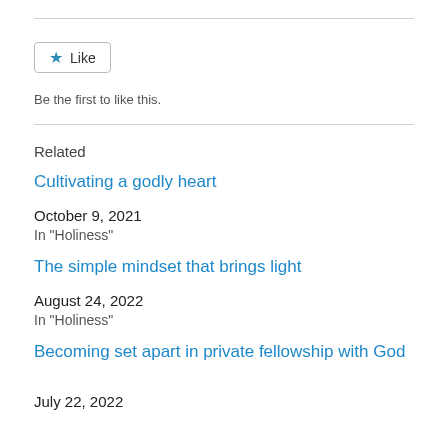[Figure (other): Like button widget with a star icon]
Be the first to like this.
Related
Cultivating a godly heart
October 9, 2021
In "Holiness"
The simple mindset that brings light
August 24, 2022
In "Holiness"
Becoming set apart in private fellowship with God
July 22, 2022